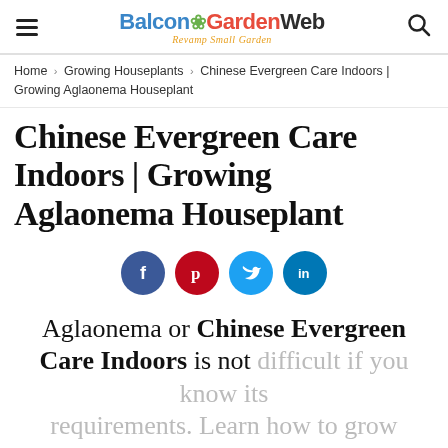BalconGardenWeb — Revamp Small Garden
Home › Growing Houseplants › Chinese Evergreen Care Indoors | Growing Aglaonema Houseplant
Chinese Evergreen Care Indoors | Growing Aglaonema Houseplant
[Figure (infographic): Social sharing buttons: Facebook (blue circle with f), Pinterest (red circle with p), Twitter (light blue circle with bird icon), LinkedIn (blue circle with in)]
Aglaonema or Chinese Evergreen Care Indoors is not difficult if you know its requirements. Learn how to grow